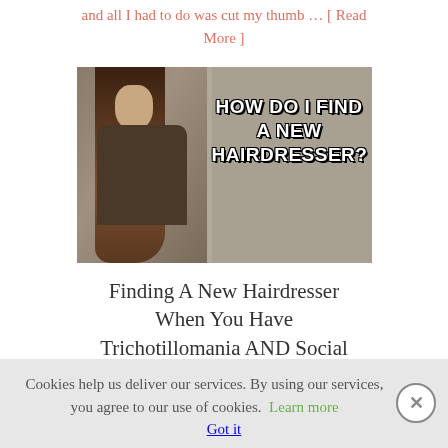and all I had to do was cut my thumb … [ Read More ]
[Figure (photo): A woman with long brown wavy hair leaning forward, with text overlay reading 'HOW DO I FIND A NEW HAIRDRESSER?']
Finding A New Hairdresser When You Have Trichotillomania AND Social
Cookies help us deliver our services. By using our services, you agree to our use of cookies. Learn more  Got it